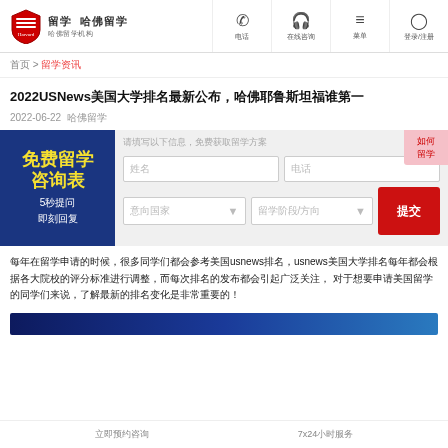留学 哈佛留学 | 哈佛留学机构
首页 > 留学资讯
2022USNews美国大学排名最新公布，哈佛耶鲁斯坦福谁第一
2022-06-22 哈佛留学
[Figure (infographic): 免费留学咨询表 - form banner with left blue panel and right input fields]
每年usnews发布usnews美国大学排名时候，很多同学都在关心，今年美国大学的排名变化！
[Figure (photo): Dark blue banner image at bottom of article]
立即预约咨询    7x24小时服务